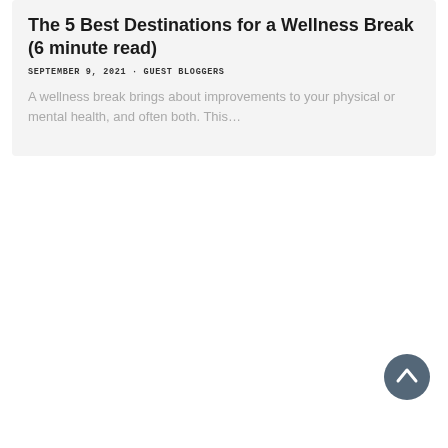The 5 Best Destinations for a Wellness Break (6 minute read)
SEPTEMBER 9, 2021 · GUEST BLOGGERS
A wellness break brings about improvements to your physical or mental health, and often both. This…
[Figure (other): Dark grey circular back-to-top button with upward chevron arrow icon, positioned at bottom right of page]